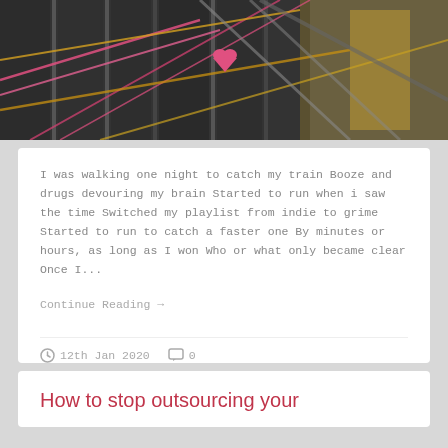[Figure (photo): Interior ceiling photo with colorful ropes or wires stretched across dark ceiling structure, pink/golden stripes visible]
I was walking one night to catch my train Booze and drugs devouring my brain Started to run when i saw the time Switched my playlist from indie to grime Started to run to catch a faster one By minutes or hours, as long as I won Who or what only became clear Once I...
Continue Reading →
12th Jan 2020  0